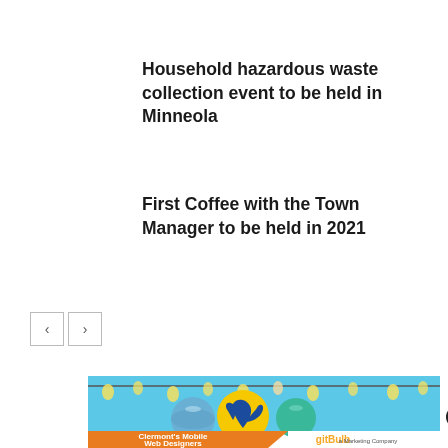Household hazardous waste collection event to be held in Minneola
First Coffee with the Town Manager to be held in 2021
[Figure (other): Navigation previous and next buttons (carousel controls)]
[Figure (photo): Clermont holiday advertisement banner with Christmas ornaments and string lights, featuring a blue phoenix logo on a yellow ball, with text 'Clermont's Mobile Web Designers' on an orange diagonal banner and 'gitBulb a Marketing Company' logo]
[Figure (logo): gitBulb a Marketing Company logo]